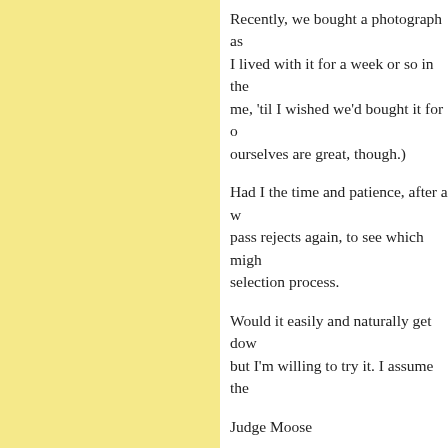Recently, we bought a photograph as I lived with it for a week or so in the me, 'til I wished we'd bought it for o ourselves are great, though.)
Had I the time and patience, after a w pass rejects again, to see which migh selection process.
Would it easily and naturally get dow but I'm willing to try it. I assume the
Judge Moose
Posted by: Moose | Tuesday, 26 October 2010 at 06:35
I'd pick the photograph that left me g I'd try to figure out why it had that e articulate the reason to others.
And if (being, as Pooh put it, a bear